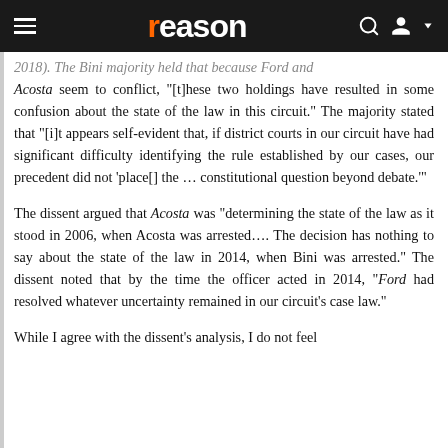reason
2018). The Bini majority held that because Ford and Acosta seem to conflict, "[t]hese two holdings have resulted in some confusion about the state of the law in this circuit." The majority stated that "[i]t appears self-evident that, if district courts in our circuit have had significant difficulty identifying the rule established by our cases, our precedent did not 'place[] the … constitutional question beyond debate.'"
The dissent argued that Acosta was "determining the state of the law as it stood in 2006, when Acosta was arrested…. The decision has nothing to say about the state of the law in 2014, when Bini was arrested." The dissent noted that by the time the officer acted in 2014, "Ford had resolved whatever uncertainty remained in our circuit's case law."
While I agree with the dissent's analysis, I do not feel